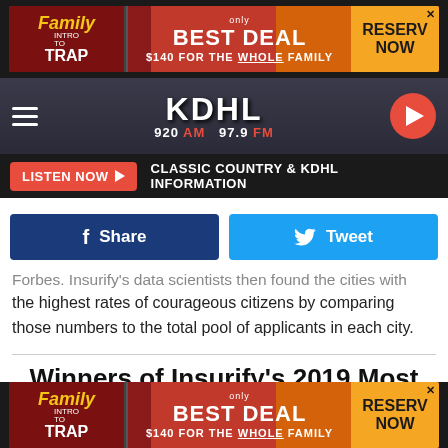[Figure (screenshot): Top advertisement banner for Family Intro to Trap - Best Deal $140 for the whole family - Reserve Now]
[Figure (logo): KDHL 920 AM 97.9 FM radio station logo and navigation bar with hamburger menu and play button]
LISTEN NOW ▶  CLASSIC COUNTRY & KDHL INFORMATION
[Figure (screenshot): Facebook Share and Twitter Tweet social sharing buttons]
Forbes. Insurify's data scientists then found the cities with the highest rates of courageous citizens by comparing those numbers to the total pool of applicants in each city.
Winners of Insurify's 2019 Most Courageous Cities Awards
[Figure (screenshot): Bottom advertisement banner for Family Intro to Trap - Best Deal $140 for the whole family - Reserve Now]